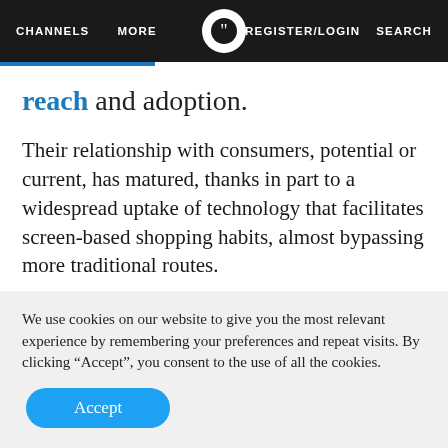CHANNELS  MORE  REGISTER/LOGIN  SEARCH
reach and adoption.
Their relationship with consumers, potential or current, has matured, thanks in part to a widespread uptake of technology that facilitates screen-based shopping habits, almost bypassing more traditional routes.
Part of the retail response has been to explore new
We use cookies on our website to give you the most relevant experience by remembering your preferences and repeat visits. By clicking “Accept”, you consent to the use of all the cookies.
Accept